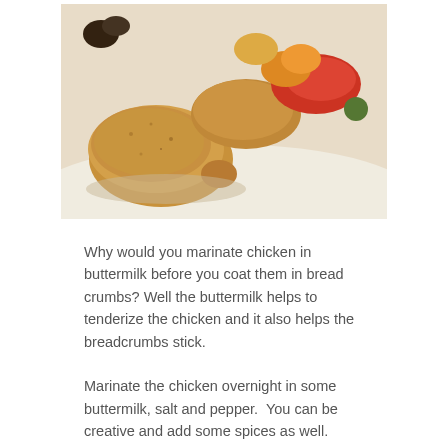[Figure (photo): Close-up photo of breaded fried chicken pieces on a white plate with roasted vegetables including red peppers, tomatoes, and other colorful vegetables in the background]
Why would you marinate chicken in buttermilk before you coat them in bread crumbs? Well the buttermilk helps to tenderize the chicken and it also helps the breadcrumbs stick.
Marinate the chicken overnight in some buttermilk, salt and pepper.  You can be creative and add some spices as well.  However you will need to add a lot since the buttermilk waters down the intensity. I prefer to